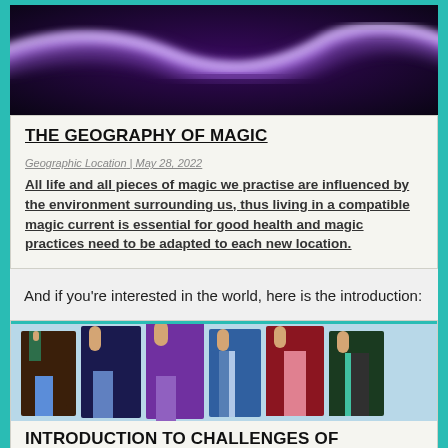[Figure (illustration): Purple glowing wave/energy swirl on dark black/purple background - decorative banner image]
THE GEOGRAPHY OF MAGIC
Geographic Location | May 28, 2022
All life and all pieces of magic we practise are influenced by the environment surrounding us, thus living in a compatible magic current is essential for good health and magic practices need to be adapted to each new location.
And if you're interested in the world, here is the introduction:
[Figure (illustration): Anime-style illustration of six characters in long robes and coats of various colors standing in a row on a light blue background]
INTRODUCTION TO CHALLENGES OF